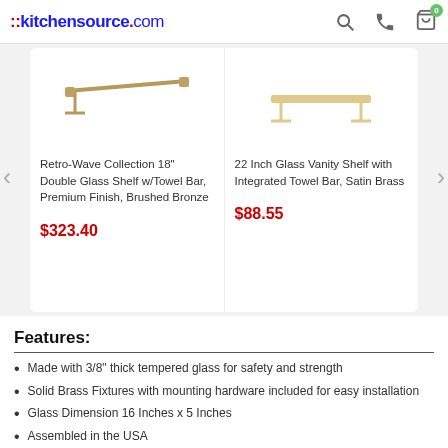::kitchensource.com
[Figure (photo): Product carousel showing two glass shelf products. Left: Retro-Wave Collection 18" Double Glass Shelf w/Towel Bar, Premium Finish, Brushed Bronze at $323.40. Right: 22 Inch Glass Vanity Shelf with Integrated Towel Bar, Satin Brass at $88.55. Navigation arrows on both sides.]
Features:
Made with 3/8" thick tempered glass for safety and strength
Solid Brass Fixtures with mounting hardware included for easy installation
Glass Dimension 16 Inches x 5 Inches
Assembled in the USA